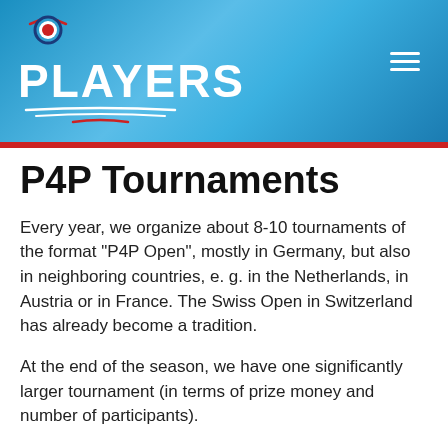[Figure (logo): PLAYERS logo with circular target icon, white text on blue gradient banner header with red accent bar at bottom and hamburger menu icon]
P4P Tournaments
Every year, we organize about 8-10 tournaments of the format "P4P Open", mostly in Germany, but also in neighboring countries, e. g. in the Netherlands, in Austria or in France. The Swiss Open in Switzerland has already become a tradition.
At the end of the season, we have one significantly larger tournament (in terms of prize money and number of participants).
Still larger events such as European and World